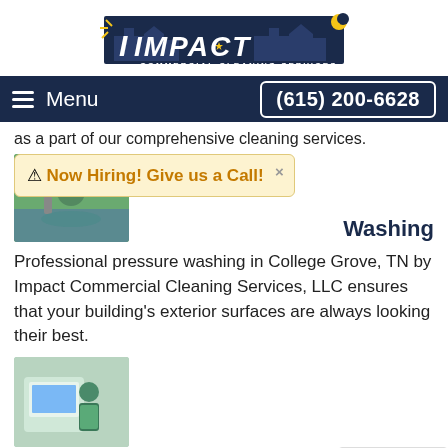[Figure (logo): Impact Commercial Cleaning Services logo with city skyline silhouette in dark blue and gold star/moon accents]
Menu | (615) 200-6628
as a part of our comprehensive cleaning services.
[Figure (photo): Person pressure washing outdoors near a body of water]
⚠ Now Hiring! Give us a Call!
Washing
Professional pressure washing in College Grove, TN by Impact Commercial Cleaning Services, LLC ensures that your building's exterior surfaces are always looking their best.
[Figure (photo): Worker in green apron using cleaning equipment indoors]
College Grove Disinfection Services
Impact Commercial Cleaning Services, LLC specializes in